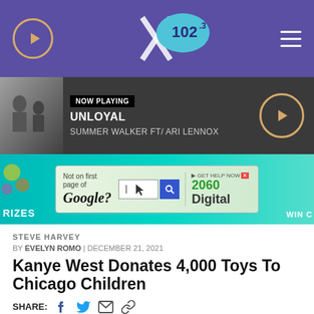X 102.3 radio station navigation bar
[Figure (screenshot): Now Playing bar showing UNLOYAL by SUMMER WALKER FT/ ARI LENNOX with album thumbnail and play button]
[Figure (screenshot): Advertisement banner: Not on first page of Google? GET HELP NOW 2060 Digital, with prizes and win text on sides]
STEVE HARVEY
BY EVELYN ROMO | DECEMBER 21, 2021
Kanye West Donates 4,000 Toys To Chicago Children
SHARE: [facebook] [twitter] [email] [link]